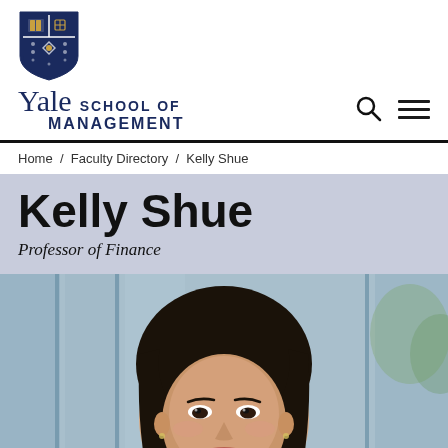[Figure (logo): Yale School of Management shield logo and wordmark]
Home / Faculty Directory / Kelly Shue
Kelly Shue
Professor of Finance
[Figure (photo): Professional headshot of Kelly Shue against blurred architectural background]